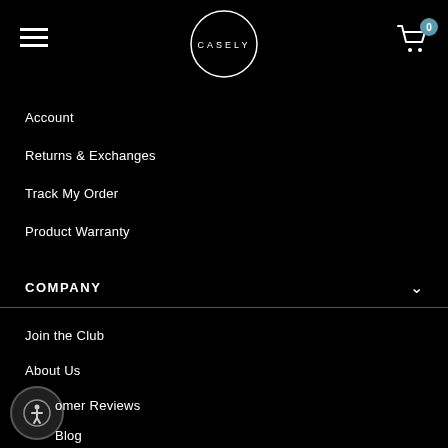CASELY — navigation header with hamburger menu, logo circle, and cart icon (0 items)
Account
Returns & Exchanges
Track My Order
Product Warranty
COMPANY
Join the Club
About Us
Customer Reviews
Blog